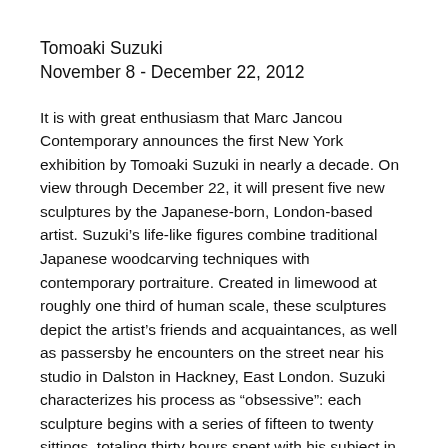Tomoaki Suzuki
November 8 - December 22, 2012
It is with great enthusiasm that Marc Jancou Contemporary announces the first New York exhibition by Tomoaki Suzuki in nearly a decade. On view through December 22, it will present five new sculptures by the Japanese-born, London-based artist. Suzuki’s life-like figures combine traditional Japanese woodcarving techniques with contemporary portraiture. Created in limewood at roughly one third of human scale, these sculptures depict the artist’s friends and acquaintances, as well as passersby he encounters on the street near his studio in Dalston in Hackney, East London. Suzuki characterizes his process as “obsessive”: each sculpture begins with a series of fifteen to twenty sittings, totaling thirty hours spent with his subject in the studio. During this time, their conversation is as important to the